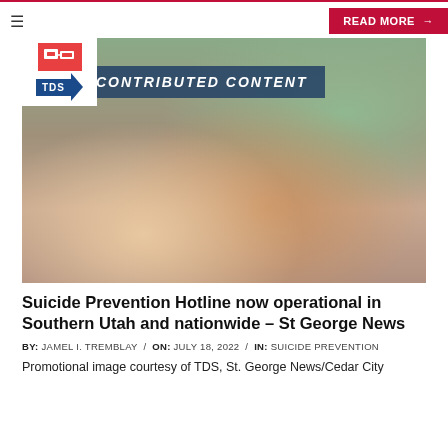READ MORE →
[Figure (photo): Contributed Content banner over a photo of two people holding hands in a supportive gesture. One person wearing white, the other in a teal/green top sitting on a couch. TDS logo visible in upper left corner of the image.]
Suicide Prevention Hotline now operational in Southern Utah and nationwide – St George News
BY: JAMEL I. TREMBLAY / ON: JULY 18, 2022 / IN: SUICIDE PREVENTION
Promotional image courtesy of TDS, St. George News/Cedar City